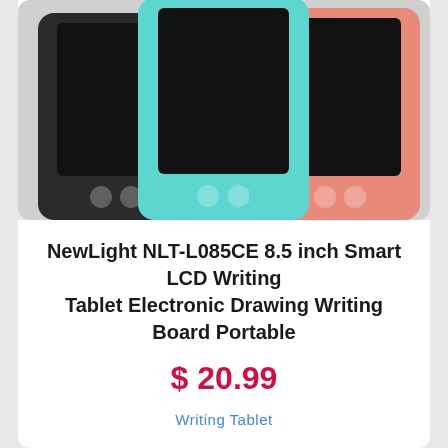[Figure (photo): Three LCD writing tablets arranged overlapping: black on left, teal/cyan in center, pink/salmon on right. Each has a dark screen and two buttons at the bottom.]
NewLight NLT-L085CE 8.5 inch Smart LCD Writing Tablet Electronic Drawing Writing Board Portable
$ 20.99
Writing Tablet
[Figure (photo): A pink-bordered dark LCD writing tablet with a teal/blue wing graphic on the screen, viewed from the front. A heart/wishlist icon is shown in the top left corner.]